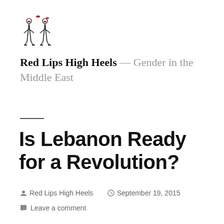[Figure (logo): Red Lips High Heels blog logo — stylized illustration of figures with red lips and high heels on black stilettos]
Red Lips High Heels — Gender in the Middle East
Is Lebanon Ready for a Revolution?
Red Lips High Heels   September 19, 2015   Leave a comment